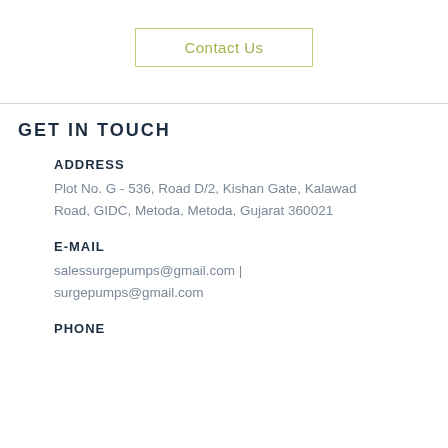Contact Us
GET IN TOUCH
ADDRESS
Plot No. G - 536, Road D/2, Kishan Gate, Kalawad Road, GIDC, Metoda, Metoda, Gujarat 360021
E-MAIL
salessurgepumps@gmail.com | surgepumps@gmail.com
PHONE